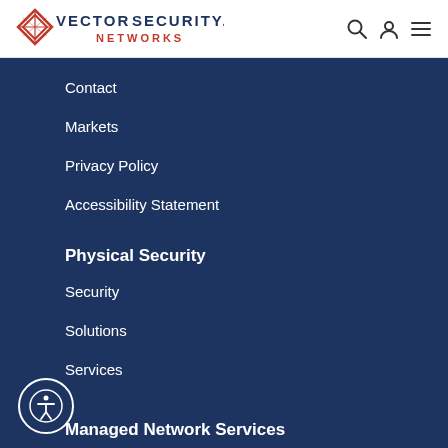[Figure (logo): Vector Security Networks logo with red diamond icon and company name]
Contact
Markets
Privacy Policy
Accessibility Statement
Physical Security
Security
Solutions
Services
Managed Network Services
[Figure (illustration): Accessibility icon button - circle with person figure]